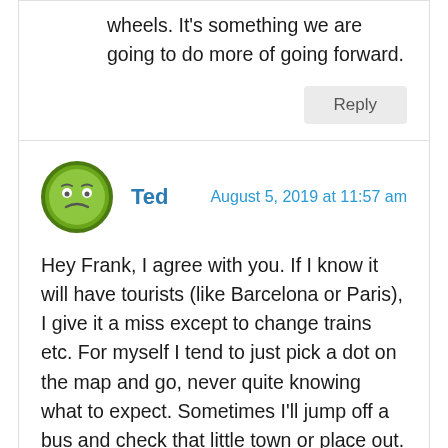wheels. It's something we are going to do more of going forward.
Reply
Ted
August 5, 2019 at 11:57 am
Hey Frank, I agree with you. If I know it will have tourists (like Barcelona or Paris), I give it a miss except to change trains etc. For myself I tend to just pick a dot on the map and go, never quite knowing what to expect. Sometimes I'll jump off a bus and check that little town or place out. Everywhere I go it's usually the people or that “something” which